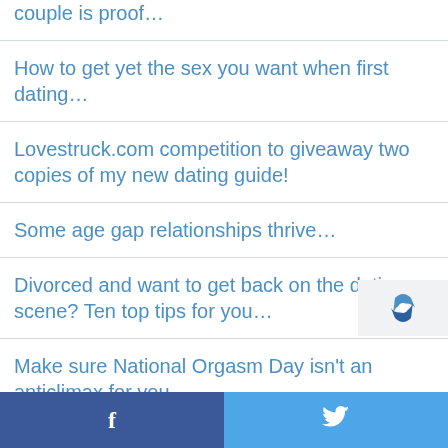couple is proof…
How to get yet the sex you want when first dating…
Lovestruck.com competition to giveaway two copies of my new dating guide!
Some age gap relationships thrive…
Divorced and want to get back on the dating scene? Ten top tips for you…
Make sure National Orgasm Day isn't an anticlimax for you…
A traumatic story of stillbirths
f  🐦